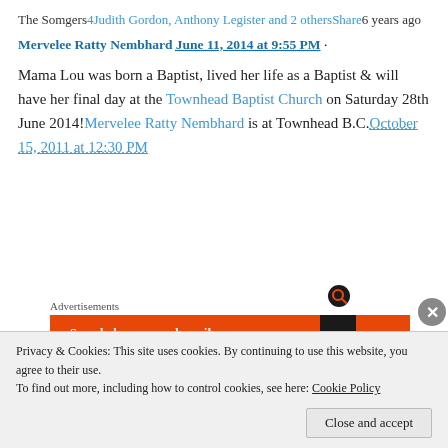The Somgers4Judith Gordon, Anthony Legister and 2 othersShare6 years ago
Mervelee Ratty Nembhard June 11, 2014 at 9:55 PM ·
Mama Lou was born a Baptist, lived her life as a Baptist & will have her final day at the Townhead Baptist Church on Saturday 28th June 2014!Mervelee Ratty Nembhard is at Townhead B.C.October 15, 2011 at 12:30 PM
Advertisements
[Figure (screenshot): Orange and black advertisement banner with text 'Search, browse, and email' and a duck logo icon]
Privacy & Cookies: This site uses cookies. By continuing to use this website, you agree to their use.
To find out more, including how to control cookies, see here: Cookie Policy
Close and accept